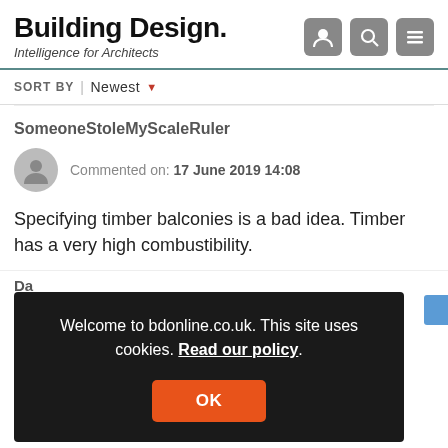Building Design. Intelligence for Architects
SORT BY | Newest
SomeoneStoleMyScaleRuler
Commented on: 17 June 2019 14:08
Specifying timber balconies is a bad idea. Timber has a very high combustibility.
Welcome to bdonline.co.uk. This site uses cookies. Read our policy.
OK